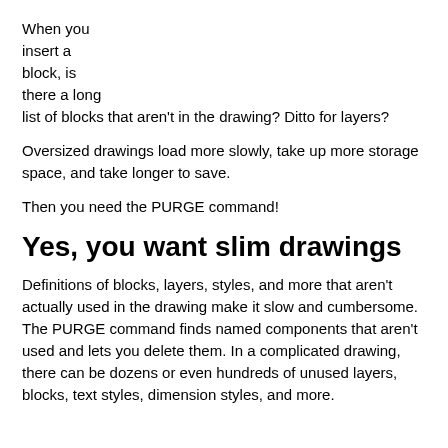When you insert a block, is there a long list of blocks that aren't in the drawing? Ditto for layers?
Oversized drawings load more slowly, take up more storage space, and take longer to save.
Then you need the PURGE command!
Yes, you want slim drawings
Definitions of blocks, layers, styles, and more that aren't actually used in the drawing make it slow and cumbersome. The PURGE command finds named components that aren't used and lets you delete them. In a complicated drawing, there can be dozens or even hundreds of unused layers, blocks, text styles, dimension styles, and more.